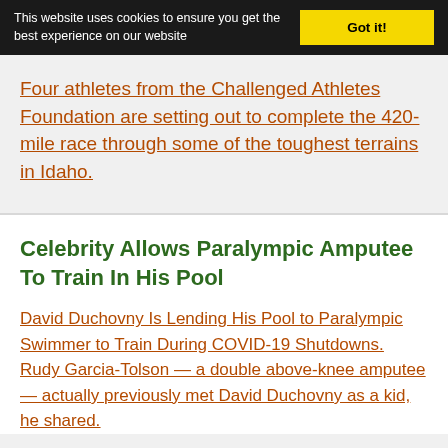This website uses cookies to ensure you get the best experience on our website
Got it!
Four athletes from the Challenged Athletes Foundation are setting out to complete the 420-mile race through some of the toughest terrains in Idaho.
Celebrity Allows Paralympic Amputee To Train In His Pool
David Duchovny Is Lending His Pool to Paralympic Swimmer to Train During COVID-19 Shutdowns. Rudy Garcia-Tolson — a double above-knee amputee — actually previously met David Duchovny as a kid, he shared.